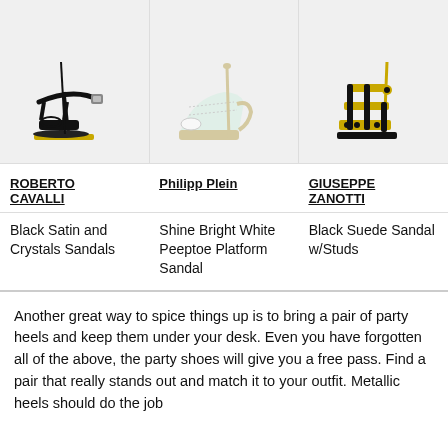[Figure (photo): Three high-heel sandals displayed side by side: left is a black satin and crystal strappy stiletto (Roberto Cavalli), center is a white peeptoe platform slingback (Philipp Plein), right is a black suede and gold studded sandal (Giuseppe Zanotti).]
ROBERTO CAVALLI
Philipp Plein
GIUSEPPE ZANOTTI
Black Satin and Crystals Sandals
Shine Bright White Peeptoe Platform Sandal
Black Suede Sandal w/Studs
Another great way to spice things up is to bring a pair of party heels and keep them under your desk. Even you have forgotten all of the above, the party shoes will give you a free pass. Find a pair that really stands out and match it to your outfit. Metallic heels should do the job